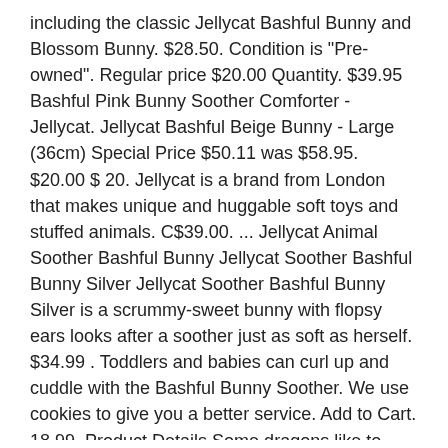including the classic Jellycat Bashful Bunny and Blossom Bunny. $28.50. Condition is "Pre-owned". Regular price $20.00 Quantity. $39.95 Bashful Pink Bunny Soother Comforter - Jellycat. Jellycat Bashful Beige Bunny - Large (36cm) Special Price $50.11 was $58.95. $20.00 $ 20. Jellycat is a brand from London that makes unique and huggable soft toys and stuffed animals. C$39.00. ... Jellycat Animal Soother Bashful Bunny Jellycat Soother Bashful Bunny Silver Jellycat Soother Bashful Bunny Silver is a scrummy-sweet bunny with flopsy ears looks after a soother just as soft as herself. $34.99 . Toddlers and babies can curl up and cuddle with the Bashful Bunny Soother. We use cookies to give you a better service. Add to Cart. 18.99. Product Details Some dragons like to hoard lots of gold, but this one looks after the Bashful Dragon Soother! Jellycat Shooshu Bear Soother Price: $22.50 . Jellycat Harry Panda Soother $22.50 USD. Jellycat Bella Bunny Ballerina, 9" $ 21 00. Jellycat Soother Bashful Bunny Pink. This soother is accompanied by a securely attached stuffed animal